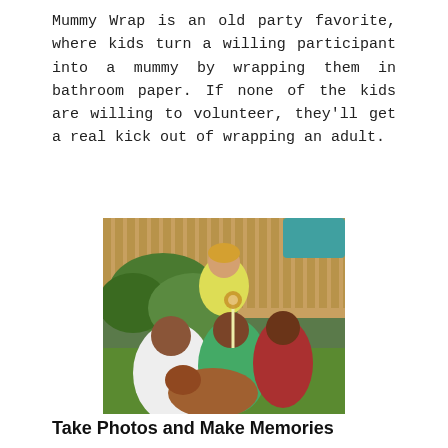Mummy Wrap is an old party favorite, where kids turn a willing participant into a mummy by wrapping them in bathroom paper. If none of the kids are willing to volunteer, they'll get a real kick out of wrapping an adult.
[Figure (photo): Outdoor backyard party scene with children and an adult woman smiling, children appearing to eat donuts off a string or stick, with green grass and a wooden fence in the background.]
Take Photos and Make Memories